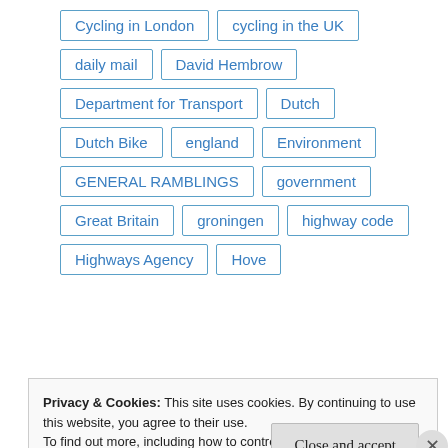Cycling in London
cycling in the UK
daily mail
David Hembrow
Department for Transport
Dutch
Dutch Bike
england
Environment
GENERAL RAMBLINGS
government
Great Britain
groningen
highway code
Highways Agency
Hove
Privacy & Cookies: This site uses cookies. By continuing to use this website, you agree to their use.
To find out more, including how to control cookies, see here:
Cookie Policy
Close and accept